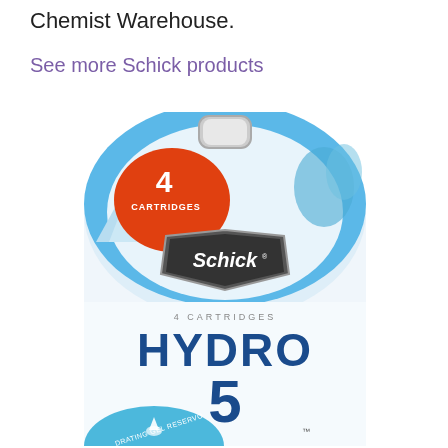Chemist Warehouse.
See more Schick products
[Figure (photo): Schick Hydro 5 razor cartridges product package — white box with rounded top hanger, showing '4 CARTRIDGES' in orange/red badge, Schick logo in silver shield, 'HYDRO 5' in large dark blue text, '4 CARTRIDGES' in small text, and 'HYDRATING GEL RESERVOIR' text at bottom with water/mountain imagery in blue tones.]